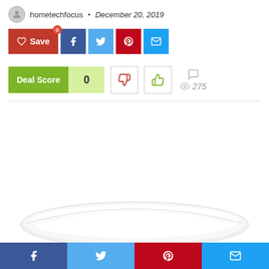hometechfocus · December 20, 2019
[Figure (screenshot): Social sharing buttons: Save (red), Facebook (dark blue), Twitter (light blue), Pinterest (red), Email (blue)]
[Figure (infographic): Deal Score widget showing score of 0 with thumbs down and thumbs up vote buttons, comment icon, and 275 views]
[Figure (photo): White oval plate partially visible at bottom of page]
[Figure (screenshot): Bottom share bar with Facebook, Twitter, Pinterest, and Email icons]